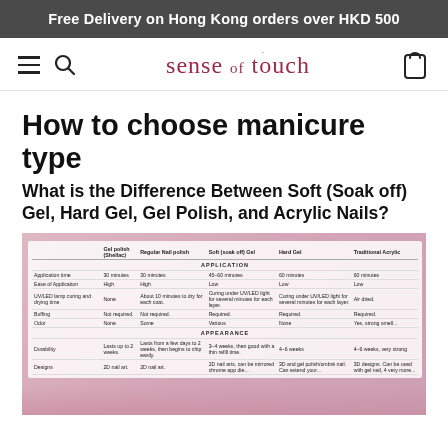Free Delivery on Hong Kong orders over HKD 500
[Figure (logo): Sense of Touch brand logo with hamburger menu, search icon, and cart icon navigation bar]
How to choose manicure type
What is the Difference Between Soft (Soak off) Gel, Hard Gel, Gel Polish, and Acrylic Nails?
[Figure (table-as-image): Comparison table image showing differences between Gel polish (Shellac), Regular Nail polish, Soft (soak off) Gel, Hard Gel, and Traditional Acrylic across Application and Appearance categories including application time, ease of application, UV/LED lamp curing and drying time, buffing, odor, durability, and designs]